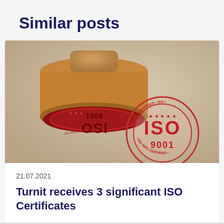Similar posts
[Figure (photo): Photo of ISO 9001 rubber stamps — a wooden stamp with ISO 9001 CERTIFIED text in red on the face, and a red ink stamp impression on paper also reading ISO 9001 CERTIFIED with stars.]
21.07.2021
Turnit receives 3 significant ISO Certificates